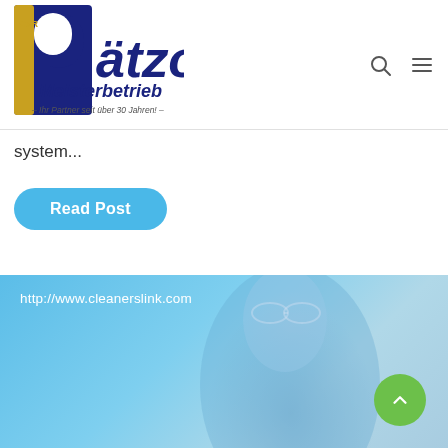[Figure (logo): GbR Pätzold Meisterbetrieb logo — dark blue and gold lettering with large stylized P, tagline 'Ihr Partner seit über 30 Jahren!']
system...
Read Post
[Figure (photo): Blue-tinted photo of a person's face, overlaid with URL text 'http://www.cleanerslink.com' in the top-left corner, and a green circular back-to-top arrow button in the bottom-right.]